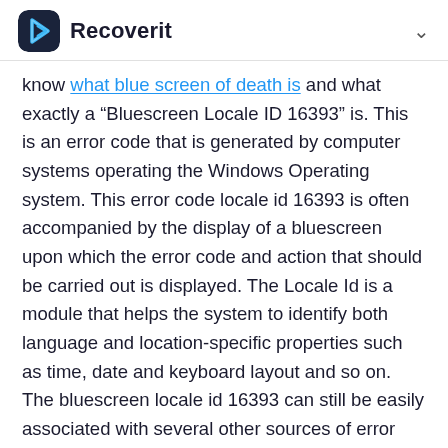Recoverit
know what blue screen of death is and what exactly a "Bluescreen Locale ID 16393" is. This is an error code that is generated by computer systems operating the Windows Operating system. This error code locale id 16393 is often accompanied by the display of a bluescreen upon which the error code and action that should be carried out is displayed. The Locale Id is a module that helps the system to identify both language and location-specific properties such as time, date and keyboard layout and so on. The bluescreen locale id 16393 can still be easily associated with several other sources of error and causes.
Part 2: Cause of bluescreen locale id 16393